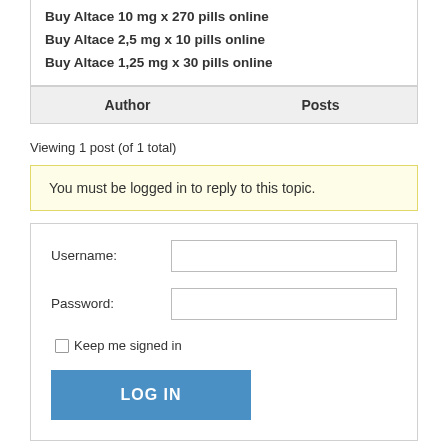Buy Altace 10 mg x 270 pills online
Buy Altace 2,5 mg x 10 pills online
Buy Altace 1,25 mg x 30 pills online
| Author | Posts |
| --- | --- |
Viewing 1 post (of 1 total)
You must be logged in to reply to this topic.
Username:
Password:
Keep me signed in
LOG IN